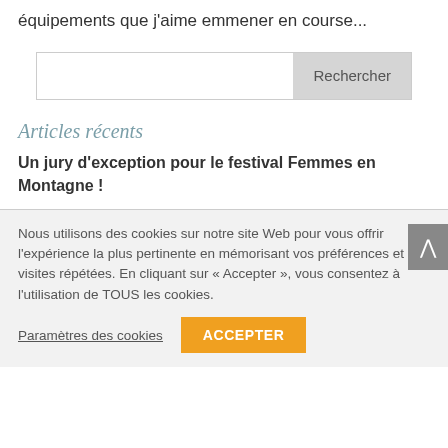équipements que j'aime emmener en course...
[Figure (screenshot): Search box with text input and 'Rechercher' button]
Articles récents
Un jury d'exception pour le festival Femmes en Montagne !
Nous utilisons des cookies sur notre site Web pour vous offrir l'expérience la plus pertinente en mémorisant vos préférences et les visites répétées. En cliquant sur « Accepter », vous consentez à l'utilisation de TOUS les cookies.
Paramètres des cookies
ACCEPTER